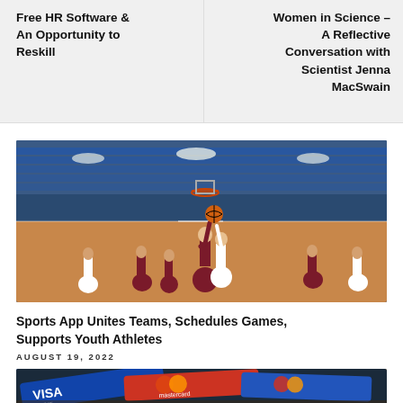Free HR Software & An Opportunity to Reskill
Women in Science – A Reflective Conversation with Scientist Jenna MacSwain
[Figure (photo): Basketball game action shot in an indoor arena. A player in a dark maroon uniform jumps up to shoot near the basket while a defender in white challenges. Several other players in both uniforms are positioned around the court. Blue stadium seats are visible in the background.]
Sports App Unites Teams, Schedules Games, Supports Youth Athletes
AUGUST 19, 2022
[Figure (photo): Close-up photo of credit/debit cards including a Visa Debit card and Mastercard cards fanned out on a surface.]